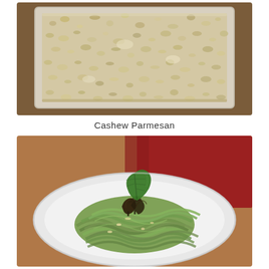[Figure (photo): Close-up photo of crumbled cashew parmesan in a white rectangular dish, viewed from above at an angle. The crumbles are fine and pale beige/cream colored, sitting on a wooden surface.]
Cashew Parmesan
[Figure (photo): Photo of a plate of green fettuccine pasta (spinach or herb pasta) arranged on a white ribbed plate, topped with dried mushrooms and a fresh basil leaf, with a dusting of cashew parmesan. A red cloth napkin is visible in the background on a wooden table.]